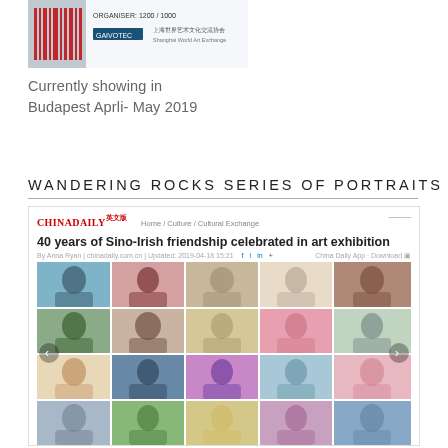[Figure (photo): Exhibition ticket or poster with barcode and Chinese text, showing event at a venue]
Currently showing in Budapest Aprli- May 2019
WANDERING ROCKS SERIES OF PORTRAITS 流浪石肖像
[Figure (screenshot): China Daily article screenshot titled '40 years of Sino-Irish friendship celebrated in art exhibition' showing a grid of colorful portrait artworks]